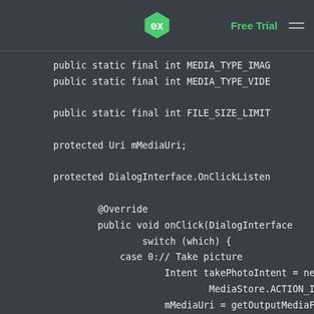Free Trial
[Figure (screenshot): Code editor screenshot showing Java code with public static final int MEDIA_TYPE_IMAGE, MEDIA_TYPE_VIDEO, FILE_SIZE_LIMIT declarations, protected Uri mMediaUri, protected DialogInterface.OnClickListener with @Override onClick method containing switch(which) with case 0 for taking a picture using Intent and MediaStore, mMediaUri assignment, null check and Toast.makeText call.]